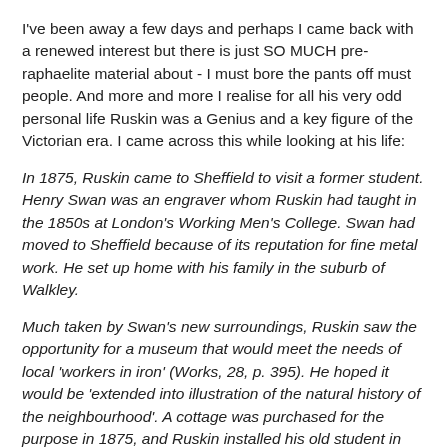I've been away a few days and perhaps I came back with a renewed interest but there is just SO MUCH pre-raphaelite material about - I must bore the pants off must people. And more and more I realise for all his very odd personal life Ruskin was a Genius and a key figure of the Victorian era. I came across this while looking at his life:
In 1875, Ruskin came to Sheffield to visit a former student. Henry Swan was an engraver whom Ruskin had taught in the 1850s at London's Working Men's College. Swan had moved to Sheffield because of its reputation for fine metal work. He set up home with his family in the suburb of Walkley.
Much taken by Swan's new surroundings, Ruskin saw the opportunity for a museum that would meet the needs of local 'workers in iron' (Works, 28, p. 395). He hoped it would be 'extended into illustration of the natural history of the neighbourhood'. A cottage was purchased for the purpose in 1875, and Ruskin installed his old student in the role of museum curator.